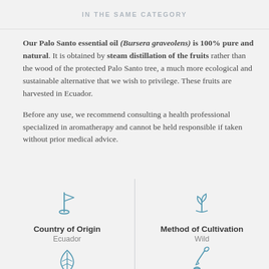IN THE SAME CATEGORY
Our Palo Santo essential oil (Bursera graveolens) is 100% pure and natural. It is obtained by steam distillation of the fruits rather than the wood of the protected Palo Santo tree, a much more ecological and sustainable alternative that we wish to privilege. These fruits are harvested in Ecuador.
Before any use, we recommend consulting a health professional specialized in aromatherapy and cannot be held responsible if taken without prior medical advice.
[Figure (illustration): Flag icon in teal/blue outline style]
Country of Origin
Ecuador
[Figure (illustration): Seedling/plant sprout icon in teal/blue outline style]
Method of Cultivation
Wild
[Figure (illustration): Leaf/grain icon in teal/blue outline style]
[Figure (illustration): Pipette/dropper icon in teal/blue outline style]